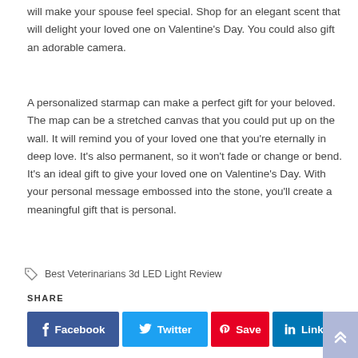will make your spouse feel special. Shop for an elegant scent that will delight your loved one on Valentine's Day. You could also gift an adorable camera.
A personalized starmap can make a perfect gift for your beloved. The map can be a stretched canvas that you could put up on the wall. It will remind you of your loved one that you're eternally in deep love. It's also permanent, so it won't fade or change or bend. It's an ideal gift to give your loved one on Valentine's Day. With your personal message embossed into the stone, you'll create a meaningful gift that is personal.
Best Veterinarians 3d LED Light Review
SHARE
Facebook
Twitter
Save
Linkedin